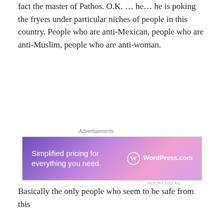fact the master of Pathos. O.K. … he… he is poking the fryers under particular niches of people in this country. People who are anti-Mexican, people who are anti-Muslim, people who are anti-woman.
[Figure (screenshot): WordPress.com advertisement: 'Simplified pricing for everything you need.' with WordPress.com logo on a purple-to-pink gradient background.]
Basically the only people who seem to be safe from this guy are white Christian males… am I missing anything? Oh, American — white Christian male Americans.
Alright? So, who knows what his actual motives are but he is a master at manipulating his audience, right? He knows
[Figure (screenshot): Ulta Beauty advertisement showing makeup-related imagery panels with 'SHOP NOW' text.]